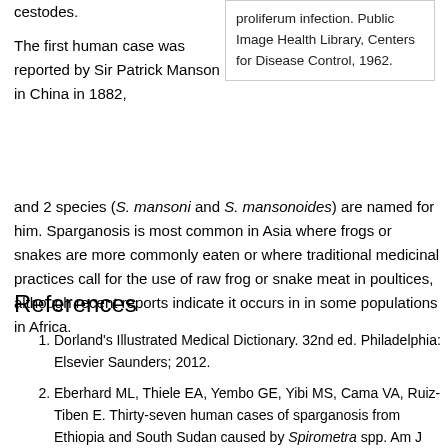cestodes.
proliferum infection. Public Image Health Library, Centers for Disease Control, 1962.
The first human case was reported by Sir Patrick Manson in China in 1882, and 2 species (S. mansoni and S. mansonoides) are named for him. Sparganosis is most common in Asia where frogs or snakes are more commonly eaten or where traditional medicinal practices call for the use of raw frog or snake meat in poultices, although recent reports indicate it occurs in in some populations in Africa.
References
1. Dorland's Illustrated Medical Dictionary. 32nd ed. Philadelphia: Elsevier Saunders; 2012.
2. Eberhard ML, Thiele EA, Yembo GE, Yibi MS, Cama VA, Ruiz-Tiben E. Thirty-seven human cases of sparganosis from Ethiopia and South Sudan caused by Spirometra spp. Am J Trop Med Hyg. 2015;93:350–5. DOI PubMed